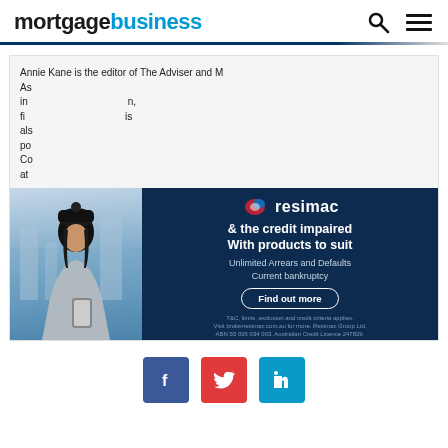mortgage business
Annie Kane is the editor of The Adviser and Mortgage Business. As well as writing about the Australian financial broking, mortgage and banking industry, finance and the wider financial services sector, she is also the host of the Elite Broker podcast and co-host of the Adviser TV show. Connect with Annie at LinkedIn.
[Figure (photo): Photo of a woman wearing a beanie hat and grey jacket, looking at her phone, with a city background]
[Figure (advertisement): Resimac advertisement: '& the credit impaired With products to suit Unlimited Arrears and Defaults Current bankruptcy Find out more'. T&C, limits, exclusion and credit criteria applies. Visit brokerresimac.com.au for more. Resimac Group Ltd. ABN 55 095 034 003. Australian Credit Licence 247829.]
LATEST NEWS